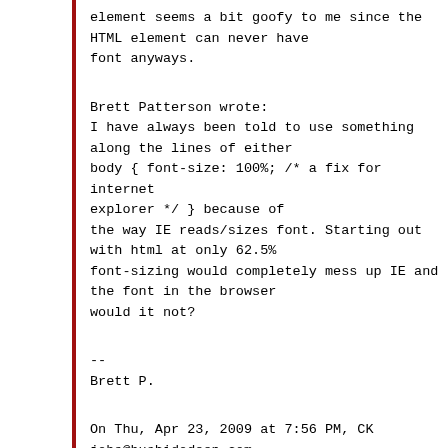element seems a bit goofy to me since the
HTML element can never have
font anyways.
Brett Patterson wrote:
I have always been told to use something
along the lines of either
body { font-size: 100%; /* a fix for internet
explorer */ } because of
the way IE reads/sizes font. Starting out
with html at only 62.5%
font-sizing would completely mess up IE and
the font in the browser
would it not?
--
Brett P.
On Thu, Apr 23, 2009 at 7:56 PM, CK
jobs@bushidodeep.com